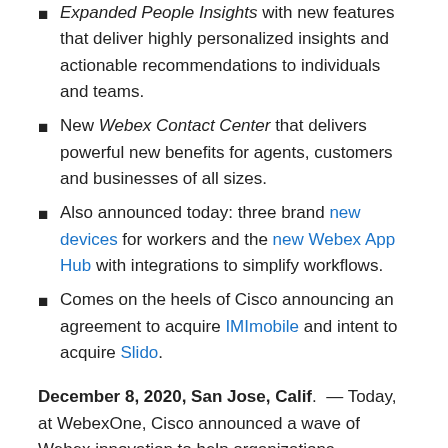Expanded People Insights with new features that deliver highly personalized insights and actionable recommendations to individuals and teams.
New Webex Contact Center that delivers powerful new benefits for agents, customers and businesses of all sizes.
Also announced today: three brand new devices for workers and the new Webex App Hub with integrations to simplify workflows.
Comes on the heels of Cisco announcing an agreement to acquire IMImobile and intent to acquire Slido.
December 8, 2020, San Jose, Calif. — Today, at WebexOne, Cisco announced a wave of Webex innovation to help organizations collaborate seamlessly and transform their employee and customer experiences. Taking place today and tomorrow, WebexOne is Cisco's premier digital collaboration conference that brings together thought leaders, customers and partners to discuss the future of work.